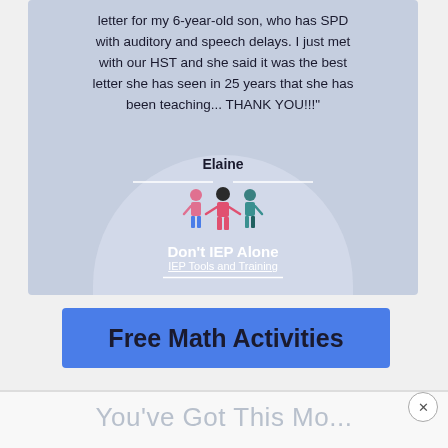[Figure (illustration): Testimonial card with light blue background and arch shape. Quote from Elaine about IEP letter for her son with SPD. Don't IEP Alone logo with three illustrated figures at the bottom of the card.]
letter for my 6-year-old son, who has SPD with auditory and speech delays. I just met with our HST and she said it was the best letter she has seen in 25 years that she has been teaching... THANK YOU!!!" Elaine
[Figure (logo): Don't IEP Alone logo with three illustrated figures (pink, red/pink, teal) holding hands, with text 'Don't IEP Alone' and 'IEP Tools and Training' below.]
[Figure (infographic): Blue banner advertisement reading 'Free Math Activities']
You've Got This Mo...